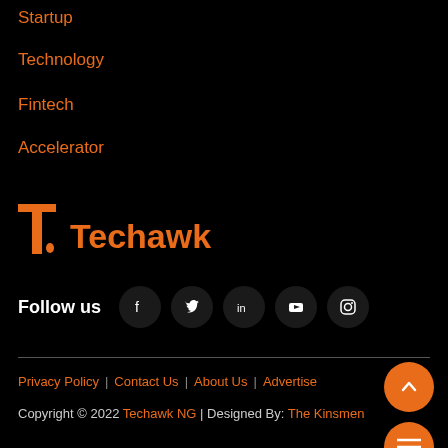Startup
Technology
Fintech
Accelerator
[Figure (logo): Techawk logo with stylized T and pen nib icon in orange, followed by 'Techawk' text in orange]
Follow us
Privacy Policy | Contact Us | About Us | Advertise
Copyright © 2022 Techawk NG | Designed By: The Kinsmen